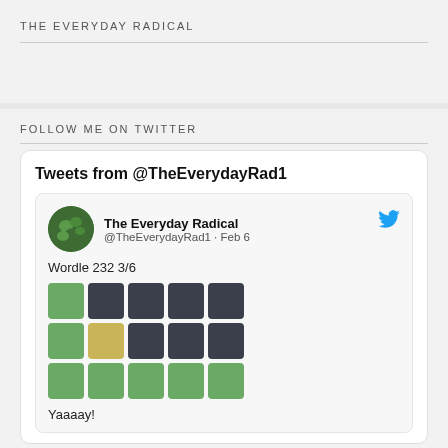THE EVERYDAY RADICAL
FOLLOW ME ON TWITTER
[Figure (screenshot): Twitter widget showing tweet from @TheEverydayRad1 on Feb 6 with Wordle 232 3/6 result grid and text 'Yaaaay!']